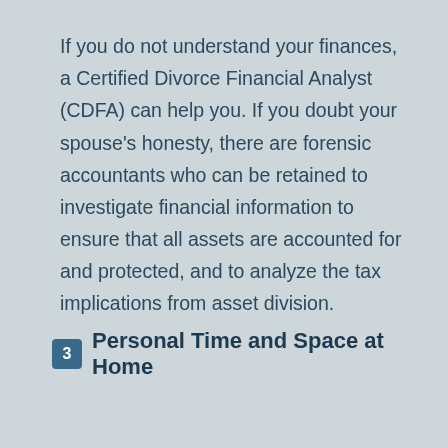If you do not understand your finances, a Certified Divorce Financial Analyst (CDFA) can help you. If you doubt your spouse's honesty, there are forensic accountants who can be retained to investigate financial information to ensure that all assets are accounted for and protected, and to analyze the tax implications from asset division.
3 Personal Time and Space at Home